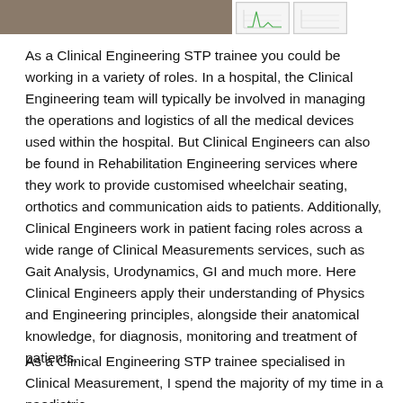[Figure (photo): Partial photo of a person or environment at the top left, brownish/grey tones]
[Figure (schematic): Two small thumbnail images showing diagrams or charts, light background with simple green line markings]
As a Clinical Engineering STP trainee you could be working in a variety of roles. In a hospital, the Clinical Engineering team will typically be involved in managing the operations and logistics of all the medical devices used within the hospital. But Clinical Engineers can also be found in Rehabilitation Engineering services where they work to provide customised wheelchair seating, orthotics and communication aids to patients. Additionally, Clinical Engineers work in patient facing roles across a wide range of Clinical Measurements services, such as Gait Analysis, Urodynamics, GI and much more. Here Clinical Engineers apply their understanding of Physics and Engineering principles, alongside their anatomical knowledge, for diagnosis, monitoring and treatment of patients.
As a Clinical Engineering STP trainee specialised in Clinical Measurement, I spend the majority of my time in a paediatric